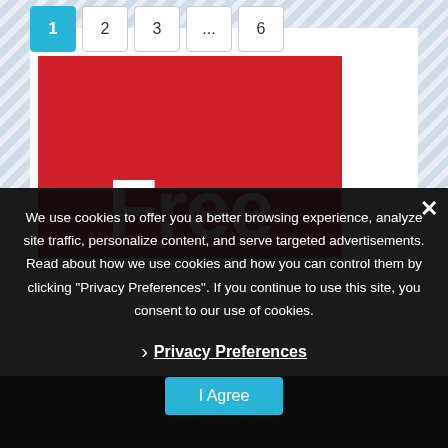1 2 3 ... 6
[Figure (screenshot): Red banner with large bold white 'Free' text]
We use cookies to offer you a better browsing experience, analyze site traffic, personalize content, and serve targeted advertisements. Read about how we use cookies and how you can control them by clicking "Privacy Preferences". If you continue to use this site, you consent to our use of cookies.
› Privacy Preferences
I Agree